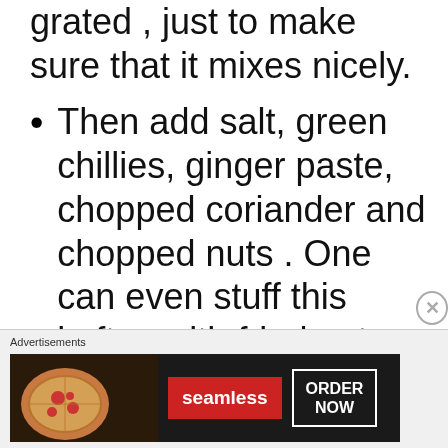grated , just to make sure that it mixes nicely.
Then add salt, green chillies, ginger paste, chopped coriander and chopped nuts . One can even stuff this koftas with fried nuts.
Mix well. Now form koftas. One can add cornflour or
[Figure (other): Advertisement banner for Seamless food ordering service showing pizza image, Seamless logo button, and ORDER NOW button]
Advertisements